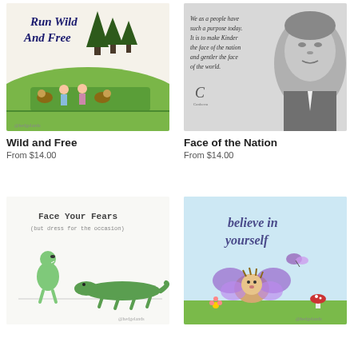[Figure (illustration): Book/card cover illustration: children and hedgehogs walking along a path with text 'Run Wild And Free' in hand-lettered style, trees in background]
Wild and Free
From $14.00
[Figure (illustration): Black and white portrait photo of a man with handwritten quote: 'We as a people have such a purpose today. It is to make Kinder the face of the nation and gentler the face of the world.' with a logo below]
Face of the Nation
From $14.00
[Figure (illustration): Illustrated card showing a small dinosaur facing a larger alligator/crocodile with text 'Face Your Fears (but dress for the occasion)']
[Figure (illustration): Illustrated card showing a hedgehog with butterfly wings and a butterfly, with text 'believe in yourself' in script lettering]